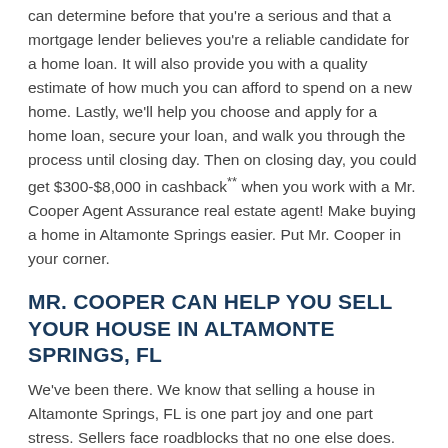can determine before that you're serious and that a mortgage lender believes you're a reliable candidate for a home loan. It will also provide you with a quality estimate of how much you can afford to spend on a new home. Lastly, we'll help you choose and apply for a home loan, secure your loan, and walk you through the process until closing day. Then on closing day, you could get $300-$8,000 in cashback** when you work with a Mr. Cooper Agent Assurance real estate agent! Make buying a home in Altamonte Springs easier. Put Mr. Cooper in your corner.
MR. COOPER CAN HELP YOU SELL YOUR HOUSE IN ALTAMONTE SPRINGS, FL
We've been there. We know that selling a house in Altamonte Springs, FL is one part joy and one part stress. Sellers face roadblocks that no one else does. Mr. Cooper has firsthand experience overcoming those obstacles and can help you enjoy a better home selling experience.
Take, for example, the challenge of finding a new home while trying to sell your current one. You have a limited supply of Altamonte Springs homes to choose from, and changes in property can happen all the time. You want to wait for the right